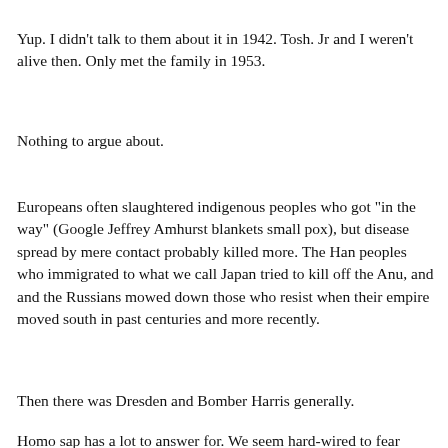Yup.  I didn't talk to them about it in 1942.   Tosh. Jr and I weren't alive then. Only met the family in 1953.
Nothing to argue about.
Europeans often slaughtered indigenous peoples who got "in the way" (Google Jeffrey Amhurst blankets small pox),  but disease spread by mere contact probably killed more.  The Han peoples who immigrated to what we call Japan tried to kill off the Anu, and and the Russians mowed down those who resist when their empire moved south in past centuries and more recently.
Then there was Dresden and Bomber Harris generally.
Homo sap has a lot to answer for.  We seem hard-wired to fear